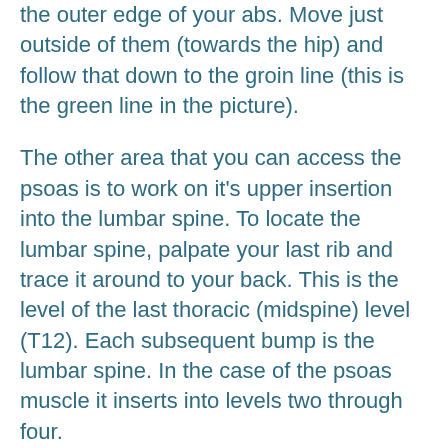the outer edge of your abs. Move just outside of them (towards the hip) and follow that down to the groin line (this is the green line in the picture).
The other area that you can access the psoas is to work on it's upper insertion into the lumbar spine. To locate the lumbar spine, palpate your last rib and trace it around to your back. This is the level of the last thoracic (midspine) level (T12). Each subsequent bump is the lumbar spine. In the case of the psoas muscle it inserts into levels two through four.
To work on the upper levels, you then want to target just to the side of the